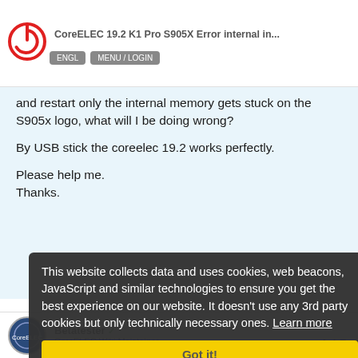CoreELEC 19.2 K1 Pro S905X Error internal in...
and restart only the internal memory gets stuck on the S905x logo, what will I be doing wrong?
By USB stick the coreelec 19.2 works perfectly.
Please help me.
Thanks.
This website collects data and uses cookies, web beacons, JavaScript and similar technologies to ensure you get the best experience on our website. It doesn't use any 3rd party cookies but only technically necessary ones. Learn more
Got it!
Betatester
CoreELEC Wiki Maintainer
1 / 5